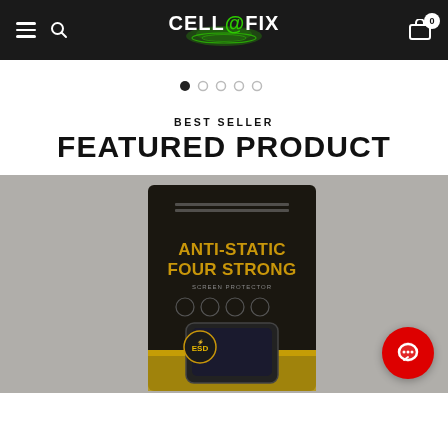CELL@FIX navigation bar with hamburger menu, search icon, logo, and cart (0)
[Figure (other): Carousel navigation dots, first dot active]
BEST SELLER
FEATURED PRODUCT
[Figure (photo): Product photo: Anti-Static Four Strong ESD screen protector package on grey background, with red chat button overlay]